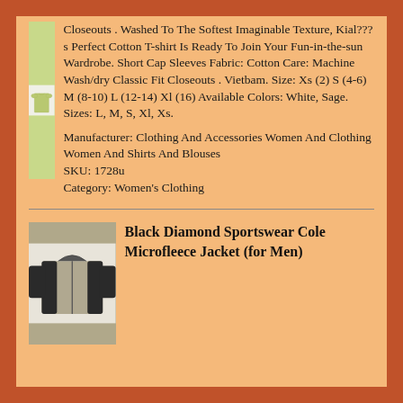[Figure (photo): Light green short-sleeve women's T-shirt on white background]
Closeouts . Washed To The Softest Imaginable Texture, Kial???s Perfect Cotton T-shirt Is Ready To Join Your Fun-in-the-sun Wardrobe. Short Cap Sleeves Fabric: Cotton Care: Machine Wash/dry Classic Fit Closeouts . Vietbam. Size: Xs (2) S (4-6) M (8-10) L (12-14) Xl (16) Available Colors: White, Sage. Sizes: L, M, S, Xl, Xs.
Manufacturer: Clothing And Accessories Women And Clothing Women And Shirts And Blouses
SKU: 1728u
Category: Women's Clothing
[Figure (photo): Black Diamond Sportswear Cole Microfleece Jacket for men, shown in grey and black]
Black Diamond Sportswear Cole Microfleece Jacket (for Men)